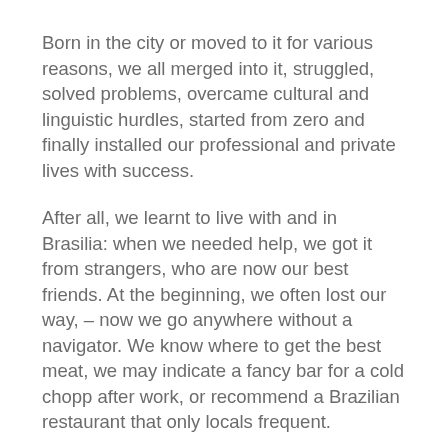Born in the city or moved to it for various reasons, we all merged into it, struggled, solved problems, overcame cultural and linguistic hurdles, started from zero and finally installed our professional and private lives with success.
After all, we learnt to live with and in Brasilia: when we needed help, we got it from strangers, who are now our best friends. At the beginning, we often lost our way, – now we go anywhere without a navigator. We know where to get the best meat, we may indicate a fancy bar for a cold chopp after work, or recommend a Brazilian restaurant that only locals frequent.
And: we never stop learning something new about Brasilia because it is changing its face permanently, – growing, developing its personality, becoming more and more international, globalized. Along with this development, we are improving our knowledge, our